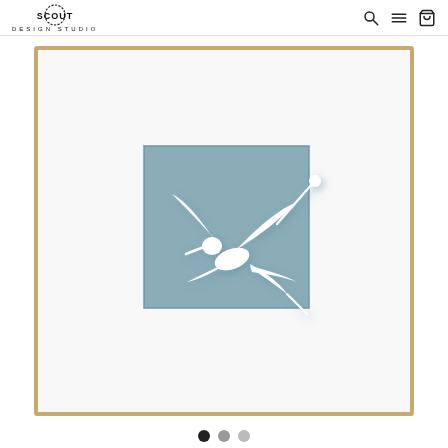SCOUT DESIGN STUDIO — navigation header with search, menu, and cart icons
[Figure (photo): A framed paper art piece with a gold/brass frame on white matting. In the center is a blue-grey square background with a white 3D paper-cut hummingbird in flight, wings spread, with a small circular flower bud on a stem extending to the upper right. The hummingbird casts subtle shadows on the blue background.]
Carousel navigation dots: three circles (black, grey, light grey)